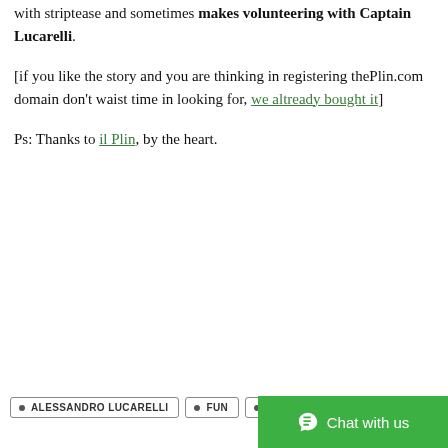with striptease and sometimes makes volunteering with Captain Lucarelli.
[if you like the story and you are thinking in registering thePlin.com domain don't waist time in looking for, we altready bought it]
Ps: Thanks to il Plin, by the heart.
ALESSANDRO LUCARELLI
FUN
JOKI...
SBORETOR